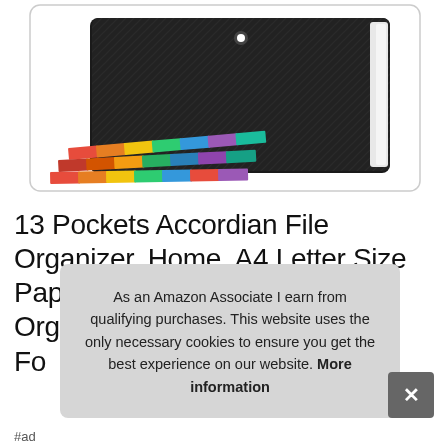[Figure (photo): Black carbon-fiber accordion file organizer with colorful tabbed dividers fanned out in front, on white background with rounded border]
13 Pockets Accordian File Organizer, Home, A4 Letter Size Paper Document Receipt Organizer Accordion Filing Fo Fo
As an Amazon Associate I earn from qualifying purchases. This website uses the only necessary cookies to ensure you get the best experience on our website. More information
#ad